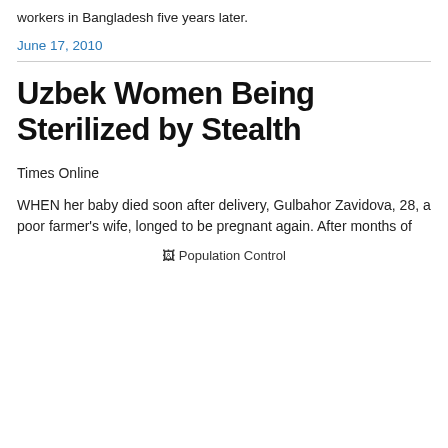workers in Bangladesh five years later.
June 17, 2010
Uzbek Women Being Sterilized by Stealth
Times Online
WHEN her baby died soon after delivery, Gulbahor Zavidova, 28, a poor farmer’s wife, longed to be pregnant again. After months of
[Figure (other): Broken image placeholder labeled 'Population Control']